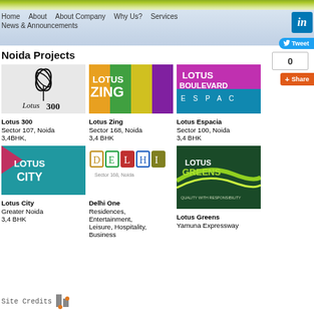Home | About | About Company | Why Us? | Services | News & Announcements
Noida Projects
[Figure (logo): Lotus 300 logo - white/grey background with leaf icon and Lotus 300 text]
Lotus 300
Sector 107, Noida
3,4BHK,
[Figure (logo): Lotus Zing logo - colorful orange, green, yellow and purple sections]
Lotus Zing
Sector 168, Noida
3,4 BHK
[Figure (logo): Lotus Espacia / Lotus Boulevard logo - purple and teal background]
Lotus Espacia
Sector 100, Noida
3,4 BHK
[Figure (logo): Lotus City logo - teal background with pink shape and white text]
Lotus City
Greater Noida
3,4 BHK
[Figure (logo): Delhi One logo - individual colored letter boxes D E L H I with Sector 168, Noida text]
Delhi One
Residences, Entertainment, Leisure, Hospitality, Business
[Figure (logo): Lotus Greens logo - dark green background with lime green wave and white text LOTUS GREENS QUALITY WITH RESPONSIBILITY]
Lotus Greens
Yamuna Expressway
Site Credits